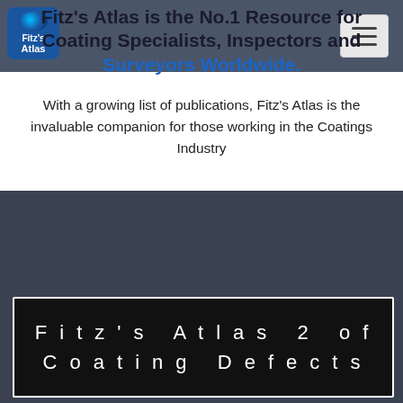Fitz's Atlas is the No.1 Resource for Coating Specialists, Inspectors and Surveyors Worldwide.
With a growing list of publications, Fitz's Atlas is the invaluable companion for those working in the Coatings Industry
Fitz's Atlas 2 of Coating Defects